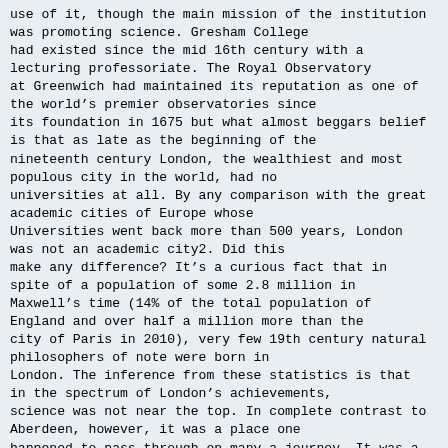use of it, though the main mission of the institution was promoting science. Gresham College had existed since the mid 16th century with a lecturing professoriate. The Royal Observatory at Greenwich had maintained its reputation as one of the world's premier observatories since its foundation in 1675 but what almost beggars belief is that as late as the beginning of the nineteenth century London, the wealthiest and most populous city in the world, had no universities at all. By any comparison with the great academic cities of Europe whose Universities went back more than 500 years, London was not an academic city2. Did this make any difference? It's a curious fact that in spite of a population of some 2.8 million in Maxwell's time (14% of the total population of England and over half a million more than the city of Paris in 2010), very few 19th century natural philosophers of note were born in London. The inference from these statistics is that in the spectrum of London's achievements, science was not near the top. In complete contrast to Aberdeen, however, it was a place one happened to pass through on many a journey. It was a place that embodied change in general and exchange of ideas in particular. Maxwell could hardly have moved to a better city to maintain himself on the stage where science was exhibited.
By the time Maxwell arrived in 1860, London had two university colleges, founded within a few years of each other. In brief, the University of